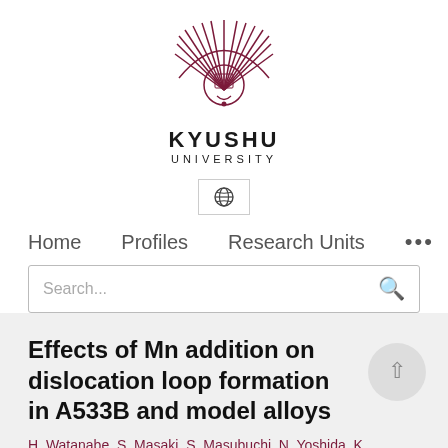[Figure (logo): Kyushu University logo — stylized phoenix/fan crest in dark red above the text KYUSHU UNIVERSITY]
[Figure (screenshot): Globe/language selector icon inside a rectangular border]
Home   Profiles   Research Units   •••
Search...
Effects of Mn addition on dislocation loop formation in A533B and model alloys
H. Watanabe, S. Masaki, S. Masubuchi, N. Yoshida, K. ...